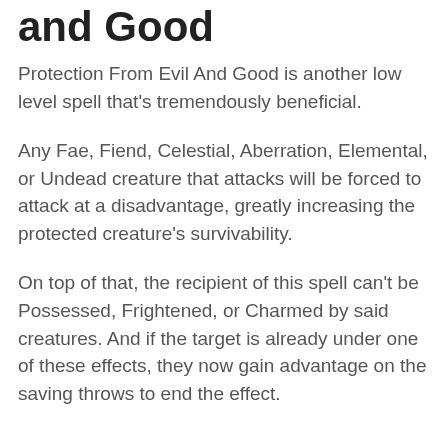and Good
Protection From Evil And Good is another low level spell that's tremendously beneficial.
Any Fae, Fiend, Celestial, Aberration, Elemental, or Undead creature that attacks will be forced to attack at a disadvantage, greatly increasing the protected creature's survivability.
On top of that, the recipient of this spell can't be Possessed, Frightened, or Charmed by said creatures. And if the target is already under one of these effects, they now gain advantage on the saving throws to end the effect.